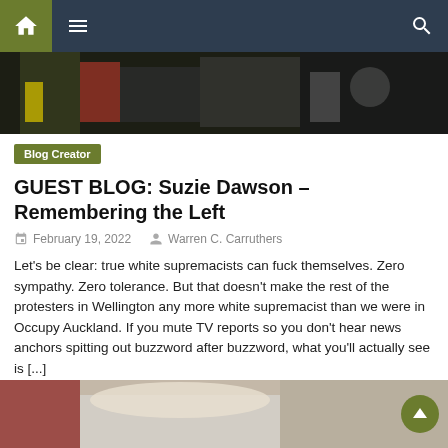Navigation bar with home, menu, and search icons
[Figure (photo): Dark crowd/protest scene photo, partially visible at top]
Blog Creator
GUEST BLOG: Suzie Dawson – Remembering the Left
February 19, 2022   Warren C. Carruthers
Let's be clear: true white supremacists can fuck themselves. Zero sympathy. Zero tolerance. But that doesn't make the rest of the protesters in Wellington any more white supremacist than we were in Occupy Auckland. If you mute TV reports so you don't hear news anchors spitting out buzzword after buzzword, what you'll actually see is [...]
[Figure (photo): Partial photo at bottom of page, appears to show a person with light hair]